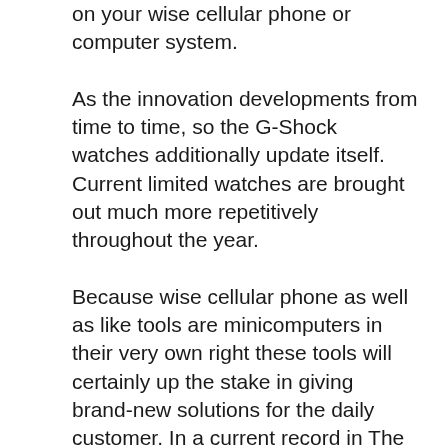on your wise cellular phone or computer system.
As the innovation developments from time to time, so the G-Shock watches additionally update itself. Current limited watches are brought out much more repetitively throughout the year.
Because wise cellular phone as well as like tools are minicomputers in their very own right these tools will certainly up the stake in giving brand-new solutions for the daily customer. In a current record in The Chicago Tribune, Market experts anticipate cordless laptop computer cards as well as cell phones will certainly make up 83 percent of international information utilize by 2013,